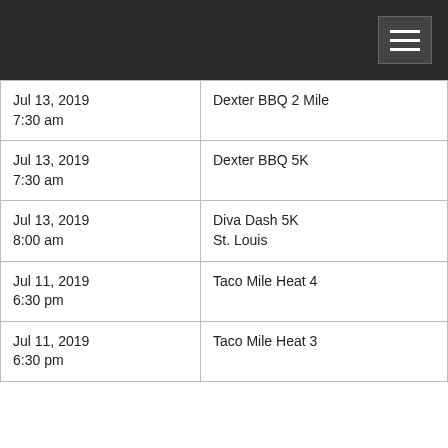| Jul 13, 2019
7:30 am | Dexter BBQ 2 Mile |
| Jul 13, 2019
7:30 am | Dexter BBQ 5K |
| Jul 13, 2019
8:00 am | Diva Dash 5K
St. Louis |
| Jul 11, 2019
6:30 pm | Taco Mile Heat 4 |
| Jul 11, 2019
6:30 pm | Taco Mile Heat 3 |